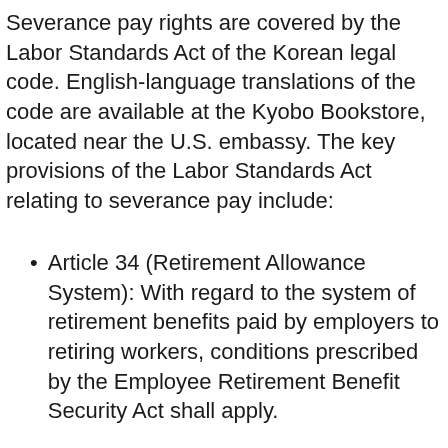Severance pay rights are covered by the Labor Standards Act of the Korean legal code. English-language translations of the code are available at the Kyobo Bookstore, located near the U.S. embassy. The key provisions of the Labor Standards Act relating to severance pay include:
Article 34 (Retirement Allowance System): With regard to the system of retirement benefits paid by employers to retiring workers, conditions prescribed by the Employee Retirement Benefit Security Act shall apply.